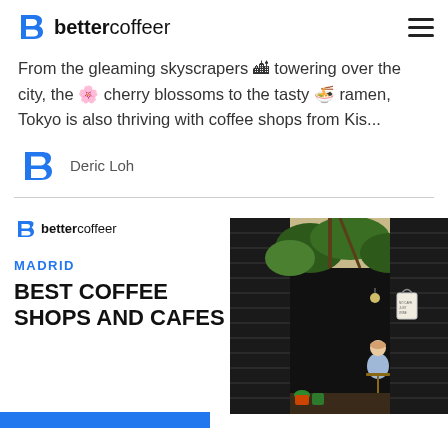bettercoffeer
From the gleaming skyscrapers 🏙 towering over the city, the 🌸 cherry blossoms to the tasty 🍜 ramen, Tokyo is also thriving with coffee shops from Kis...
Deric Loh
[Figure (photo): Photo of a cafe entrance in Madrid with dark louvered shutters, lush green plants overhead, a woman sitting at a small table, and a tote bag hanging on the door.]
MADRID — BEST COFFEE SHOPS AND CAFES